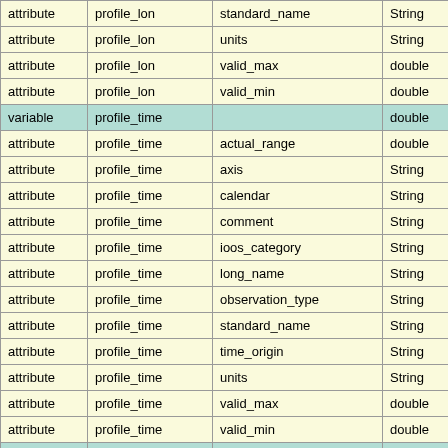|  |  |  |  |
| --- | --- | --- | --- |
| attribute | profile_lon | standard_name | String |
| attribute | profile_lon | units | String |
| attribute | profile_lon | valid_max | double |
| attribute | profile_lon | valid_min | double |
| variable | profile_time |  | double |
| attribute | profile_time | actual_range | double |
| attribute | profile_time | axis | String |
| attribute | profile_time | calendar | String |
| attribute | profile_time | comment | String |
| attribute | profile_time | ioos_category | String |
| attribute | profile_time | long_name | String |
| attribute | profile_time | observation_type | String |
| attribute | profile_time | standard_name | String |
| attribute | profile_time | time_origin | String |
| attribute | profile_time | units | String |
| attribute | profile_time | valid_max | double |
| attribute | profile_time | valid_min | double |
| variable | salinity |  | float |
| attribute | salinity | _FillValue | float |
| attribute | salinity | actual_range | float |